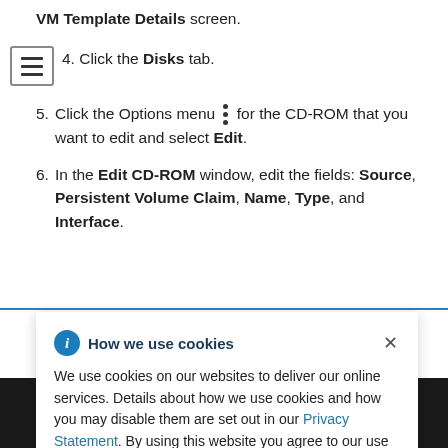VM Template Details screen.
4. Click the Disks tab.
5. Click the Options menu for the CD-ROM that you want to edit and select Edit.
6. In the Edit CD-ROM window, edit the fields: Source, Persistent Volume Claim, Name, Type, and Interface.
[Figure (screenshot): Cookie consent banner with 'How we use cookies' title, info icon, close X button, body text about cookie usage and a Privacy Statement link.]
Terms of use
All policies and guidelines